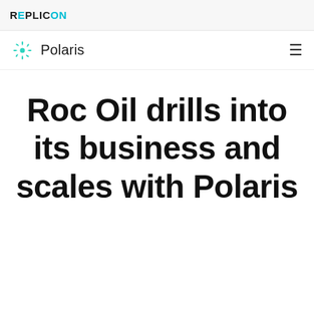REPLICON
[Figure (logo): Polaris snowflake/pinwheel logo in teal with the text 'Polaris' next to it, and a hamburger menu icon on the right]
Roc Oil drills into its business and scales with Polaris